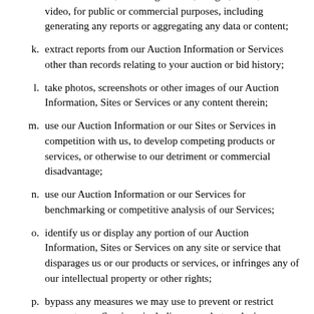publicly display any Auction Information or content of our Sites or Services, including the text, images, audio, and video, for public or commercial purposes, including generating any reports or aggregating any data or content;
k. extract reports from our Auction Information or Services other than records relating to your auction or bid history;
l. take photos, screenshots or other images of our Auction Information, Sites or Services or any content therein;
m. use our Auction Information or our Sites or Services in competition with us, to develop competing products or services, or otherwise to our detriment or commercial disadvantage;
n. use our Auction Information or our Services for benchmarking or competitive analysis of our Services;
o. identify us or display any portion of our Auction Information, Sites or Services on any site or service that disparages us or our products or services, or infringes any of our intellectual property or other rights;
p. bypass any measures we may use to prevent or restrict access to our Services, including our robot exclusion headers;